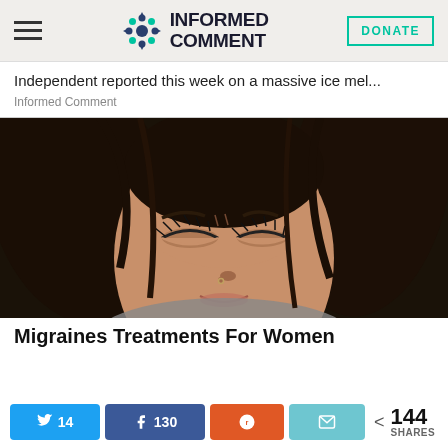INFORMED COMMENT
Independent reported this week on a massive ice mel...
Informed Comment
[Figure (photo): Close-up photograph of a young woman with dark wet hair, eyes closed, grimacing in pain, holding her head with both hands. She appears to be suffering from a headache or migraine.]
Migraines Treatments For Women
14  130  144 SHARES